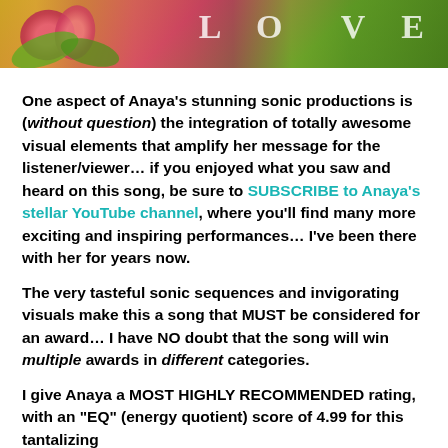[Figure (photo): Banner image showing flowers (lotus/tulip in pink/red) with green leaves against a warm golden background, with partial text 'LO VE' or similar in white letters visible at top right]
One aspect of Anaya’s stunning sonic productions is (without question) the integration of totally awesome visual elements that amplify her message for the listener/viewer… if you enjoyed what you saw and heard on this song, be sure to SUBSCRIBE to Anaya’s stellar YouTube channel, where you’ll find many more exciting and inspiring performances… I’ve been there with her for years now.
The very tasteful sonic sequences and invigorating visuals make this a song that MUST be considered for an award… I have NO doubt that the song will win multiple awards in different categories.
I give Anaya a MOST HIGHLY RECOMMENDED rating, with an “EQ” (energy quotient) score of 4.99 for this tantalizing